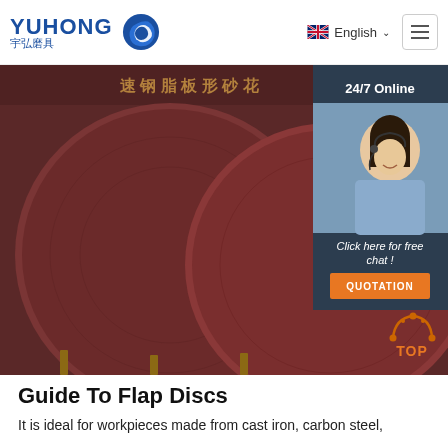[Figure (logo): Yuhong abrasives logo with blue wave icon and Chinese characters 宇弘磨具]
English ☰
[Figure (photo): Close-up photo of dark reddish-brown grinding/cutting discs stacked, with a label visible on the front disc. A customer service agent photo overlaid on the right side with 24/7 Online chat widget and QUOTATION button.]
Guide To Flap Discs
It is ideal for workpieces made from cast iron, carbon steel,